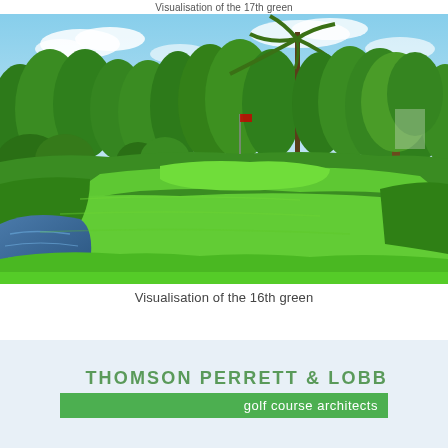Visualisation of the 17th green
[Figure (illustration): 3D visualisation rendering of a golf course green (16th green) showing lush green fairway and rough, a water hazard on the left side, tall palm trees and tropical trees in the background, blue sky with white clouds.]
Visualisation of the 16th green
[Figure (logo): Thomson Perrett & Lobb golf course architects logo with green text and green banner]